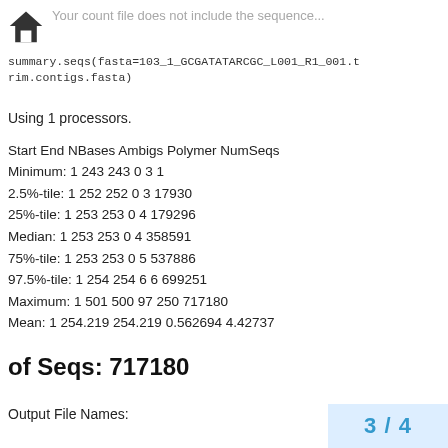Your count file does not include the sequence...
summary.seqs(fasta=103_1_GCGATATARCGC_L001_R1_001.trim.contigs.fasta)
Using 1 processors.
Start End NBases Ambigs Polymer NumSeqs
Minimum: 1 243 243 0 3 1
2.5%-tile: 1 252 252 0 3 17930
25%-tile: 1 253 253 0 4 179296
Median: 1 253 253 0 4 358591
75%-tile: 1 253 253 0 5 537886
97.5%-tile: 1 254 254 6 6 699251
Maximum: 1 501 500 97 250 717180
Mean: 1 254.219 254.219 0.562694 4.42737
of Seqs: 717180
Output File Names:
3 / 4